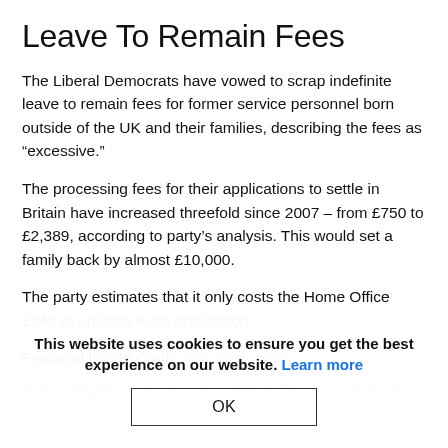Leave To Remain Fees
The Liberal Democrats have vowed to scrap indefinite leave to remain fees for former service personnel born outside of the UK and their families, describing the fees as “excessive.”
The processing fees for their applications to settle in Britain have increased threefold since 2007 – from £750 to £2,389, according to party’s analysis. This would set a family back by almost £10,000.
The party estimates that it only costs the Home Office £243 to process each application.
Featured Image Credit: Tim Ellis / Flickr.
Adam Wagner is the founder of EachOther and chair of
This website uses cookies to ensure you get the best experience on our website. Learn more
OK